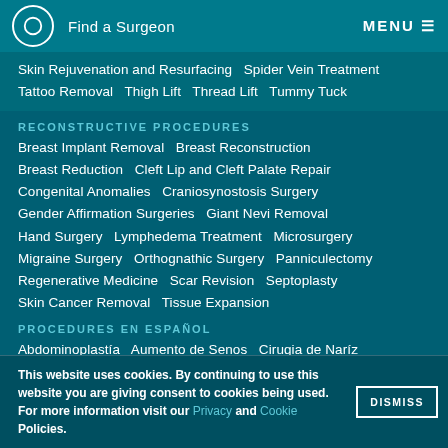Find a Surgeon   MENU
Skin Rejuvenation and Resurfacing   Spider Vein Treatment   Tattoo Removal   Thigh Lift   Thread Lift   Tummy Tuck
RECONSTRUCTIVE PROCEDURES
Breast Implant Removal   Breast Reconstruction   Breast Reduction   Cleft Lip and Cleft Palate Repair   Congenital Anomalies   Craniosynostosis Surgery   Gender Affirmation Surgeries   Giant Nevi Removal   Hand Surgery   Lymphedema Treatment   Microsurgery   Migraine Surgery   Orthognathic Surgery   Panniculectomy   Regenerative Medicine   Scar Revision   Septoplasty   Skin Cancer Removal   Tissue Expansion
PROCEDURES EN ESPAÑOL
Abdominoplastía   Aumento de Senos   Cirugia de Naríz   Cirugía del Párpado   Estiramiento de la Piel Facial   Liposucción
This website uses cookies. By continuing to use this website you are giving consent to cookies being used. For more information visit our Privacy and Cookie Policies.